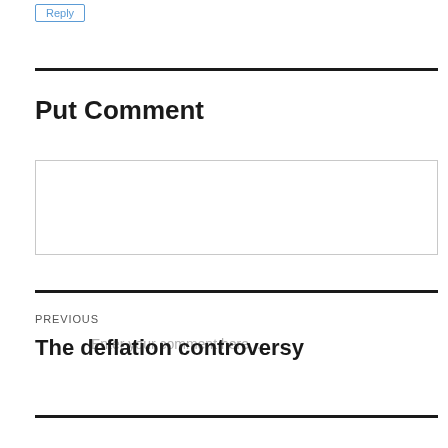Reply
Put Comment
Enter your comment here...
PREVIOUS
The deflation controversy